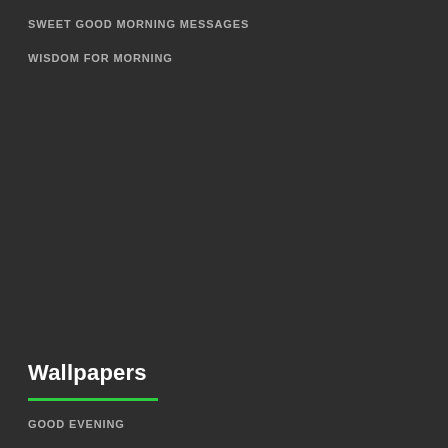SWEET GOOD MORNING MESSAGES
WISDOM FOR MORNING
Wallpapers
GOOD EVENING